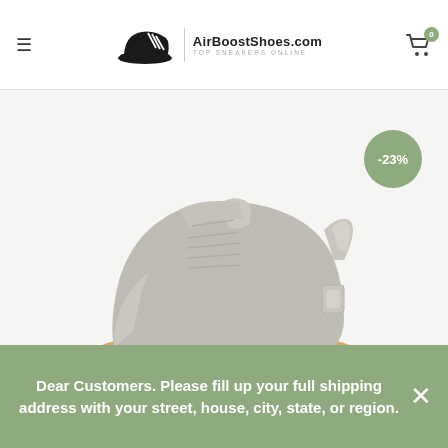AirBoostShoes.com — TOP SNEAKERS ONLINE
[Figure (photo): Adidas Yeezy Boost 350 V2 sneaker in light grey/sesame colorway with gum sole, shown from side angle on light grey background. Discount badge showing -23% in top right corner. Navigation arrows on left and right. Expand icon button bottom left.]
[Figure (photo): Thumbnail strip showing three small images of the same Yeezy sneaker from different angles]
Dear Customers. Please fill up your full shipping address with your street, house, city, state, or region.